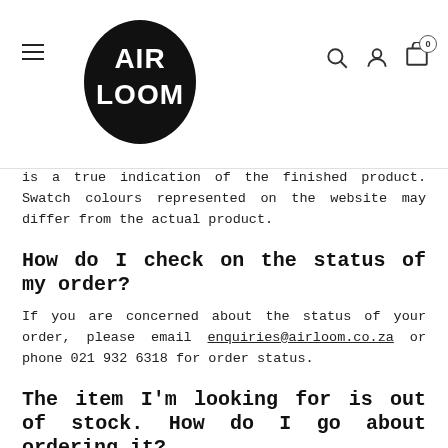AIR LOOM – navigation header with logo, hamburger menu, search, user, and cart icons
is a true indication of the finished product. Swatch colours represented on the website may differ from the actual product.
How do I check on the status of my order?
If you are concerned about the status of your order, please email enquiries@airloom.co.za or phone 021 932 6318 for order status.
The item I'm looking for is out of stock. How do I go about ordering it?
Please contact enquiries@airloom.co.za if you're struggling to order the item you want. It's likely that we're temporarily out of stock, in which case we can let